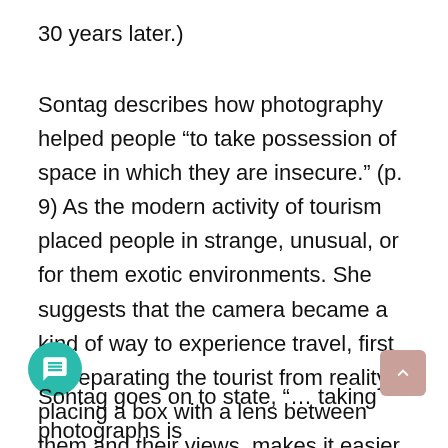30 years later.)
Sontag describes how photography helped people “to take possession of space in which they are insecure.” (p. 9) As the modern activity of tourism placed people in strange, unusual, or for them exotic environments. She suggests that the camera became a kind of way to experience travel, first by separating the tourist from reality — placing a box with a lens between them and their views, makes it easier for people to manage their displacement — and then to provide evidentiary proof, in the form of a photograph, that the trip actually took place. Mission accomplished!
Sontag goes on to state, “… taking photographs is